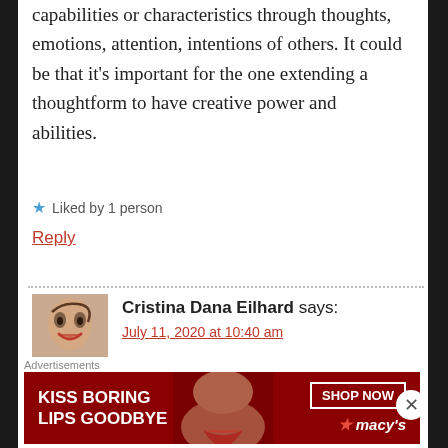capabilities or characteristics through thoughts, emotions, attention, intentions of others. It could be that it's important for the one extending a thoughtform to have creative power and abilities.
Liked by 1 person
Reply
Cristina Dana Eilhard says:
July 11, 2020 at 10:40 am
[Figure (photo): Avatar portrait of commenter Cristina Dana Eilhard — a painted or illustrated portrait of a woman with red lips]
[Figure (photo): Advertisement banner: KISS BORING LIPS GOODBYE — SHOP NOW — Macy's, red background with woman's face]
Advertisements